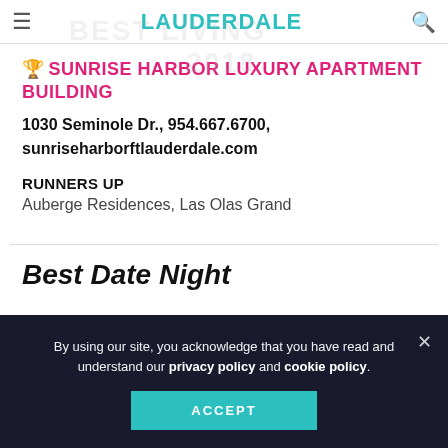FORT LAUDERDALE
🏆 SUNRISE HARBOR LUXURY APARTMENT BUILDING
1030 Seminole Dr., 954.667.6700, sunriseharborftlauderdale.com
RUNNERS UP
Auberge Residences, Las Olas Grand
Best Date Night
By using our site, you acknowledge that you have read and understand our privacy policy and cookie policy.